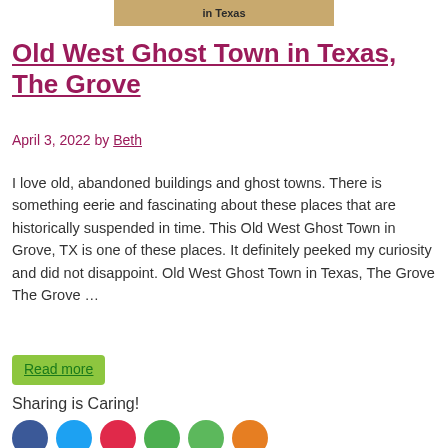[Figure (illustration): Tan/brown banner image with text 'in Texas']
Old West Ghost Town in Texas, The Grove
April 3, 2022 by Beth
I love old, abandoned buildings and ghost towns. There is something eerie and fascinating about these places that are historically suspended in time. This Old West Ghost Town in Grove, TX is one of these places. It definitely peeked my curiosity and did not disappoint. Old West Ghost Town in Texas, The Grove The Grove …
Read more
Sharing is Caring!